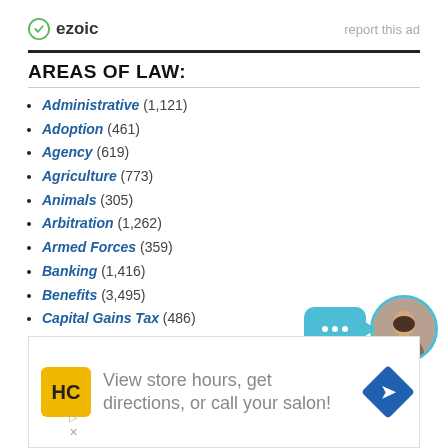[Figure (logo): Ezoic logo with green circular icon and bold text 'ezoic', with 'report this ad' text to the right]
AREAS OF LAW:
Administrative (1,121)
Adoption (461)
Agency (619)
Agriculture (773)
Animals (305)
Arbitration (1,262)
Armed Forces (359)
Banking (1,416)
Benefits (3,495)
Capital Gains Tax (486)
[Figure (illustration): Chat widget with teal speech bubble with three dots and an arrow, next to a circular avatar photo of a woman]
[Figure (illustration): Advertisement: HC logo, text 'View store hours, get directions, or call your salon!', blue diamond arrow icon]